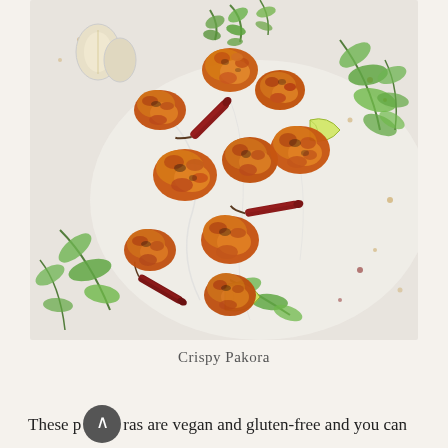[Figure (photo): Overhead food photography of crispy pakoras — golden-brown fried fritters scattered on a white cloth/surface, garnished with fresh green coriander (cilantro) leaves, dried red chillies, lime wedges, and garlic cloves. Background is a white painted wood surface speckled with spices.]
Crispy Pakora
These pakoras are vegan and gluten-free and you can add various types of vegetables such as grated